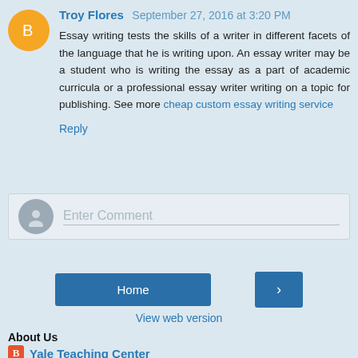Troy Flores  September 27, 2016 at 3:20 PM
Essay writing tests the skills of a writer in different facets of the language that he is writing upon. An essay writer may be a student who is writing the essay as a part of academic curricula or a professional essay writer writing on a topic for publishing. See more cheap custom essay writing service
Reply
Enter Comment
Home
>
View web version
About Us
Yale Teaching Center
Yale University, New Haven, CT